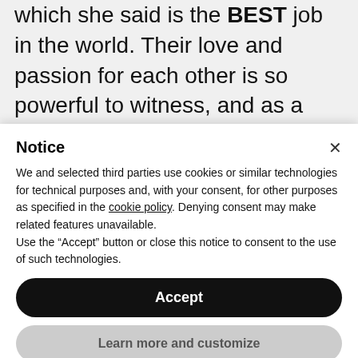which she said is the BEST job in the world. Their love and passion for each other is so powerful to witness, and as a couple, they are a force to be reckoned with. This wedding inspiration was put together to document the fact that every single
Notice
We and selected third parties use cookies or similar technologies for technical purposes and, with your consent, for other purposes as specified in the cookie policy. Denying consent may make related features unavailable.
Use the “Accept” button or close this notice to consent to the use of such technologies.
Accept
Learn more and customize